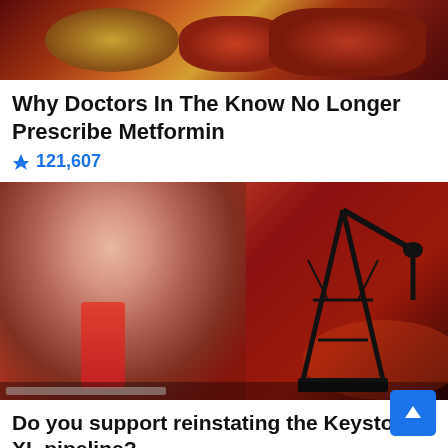[Figure (photo): Close-up photo of reddish-brown and gold colored organic material, possibly kidney stones or food items, with warm tones]
Why Doctors In The Know No Longer Prescribe Metformin
🔥 121,607
[Figure (photo): Composite image of an older man in a suit and red tie overlaid with an oil pump jack silhouette against a red-tinted background]
Do you support reinstating the Keystone XL pipeline?
Yes
No
I'm not sure